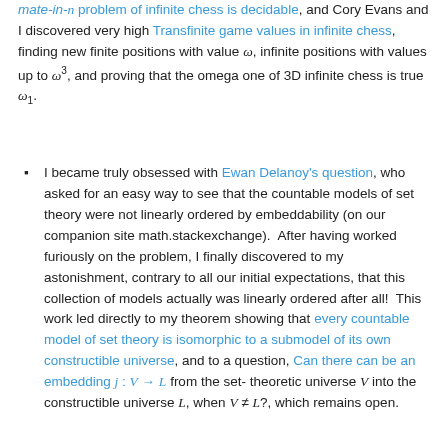mate-in-n problem of infinite chess is decidable, and Cory Evans and I discovered very high Transfinite game values in infinite chess, finding new finite positions with value ω, infinite positions with values up to ω³, and proving that the omega one of 3D infinite chess is true ω₁.
I became truly obsessed with Ewan Delanoy's question, who asked for an easy way to see that the countable models of set theory were not linearly ordered by embeddability (on our companion site math.stackexchange). After having worked furiously on the problem, I finally discovered to my astonishment, contrary to all our initial expectations, that this collection of models actually was linearly ordered after all! This work led directly to my theorem showing that every countable model of set theory is isomorphic to a submodel of its own constructible universe, and to a question, Can there can be an embedding j : V → L from the set-theoretic universe V into the constructible universe L, when V ≠ L?, which remains open.